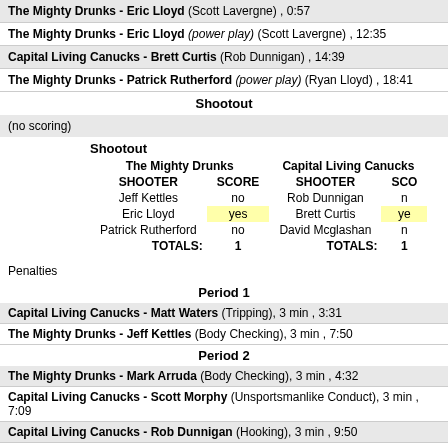The Mighty Drunks - Eric Lloyd (Scott Lavergne) , 0:57
The Mighty Drunks - Eric Lloyd (power play) (Scott Lavergne) , 12:35
Capital Living Canucks - Brett Curtis (Rob Dunnigan) , 14:39
The Mighty Drunks - Patrick Rutherford (power play) (Ryan Lloyd) , 18:41
Shootout
(no scoring)
| The Mighty Drunks |  | Capital Living Canucks |  |
| --- | --- | --- | --- |
| SHOOTER | SCORE | SHOOTER | SCO... |
| Jeff Kettles | no | Rob Dunnigan | n... |
| Eric Lloyd | yes | Brett Curtis | ye... |
| Patrick Rutherford | no | David Mcglashan | n... |
| TOTALS: | 1 | TOTALS: | 1 |
Penalties
Period 1
Capital Living Canucks - Matt Waters (Tripping), 3 min , 3:31
The Mighty Drunks - Jeff Kettles (Body Checking), 3 min , 7:50
Period 2
The Mighty Drunks - Mark Arruda (Body Checking), 3 min , 4:32
Capital Living Canucks - Scott Morphy (Unsportsmanlike Conduct), 3 min , 7:09
Capital Living Canucks - Rob Dunnigan (Hooking), 3 min , 9:50
Capital Living Canucks - Michael Sgabellone (Roughing), 3 min , 12:00
Capital Living Canucks - Michael Sgabellone (Roughing), 3 min , 12:00
The Mighty Drunks - Ken Burchill (Roughing(Double Minor), 6 min , 12:00